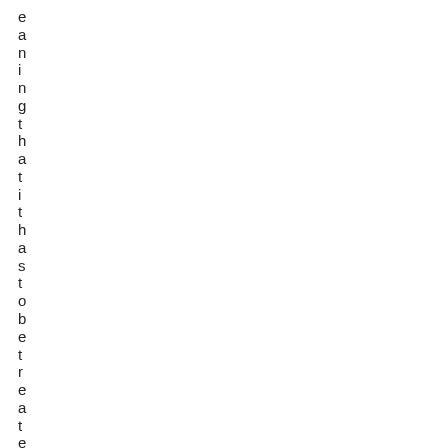eaning that it has to be treated as